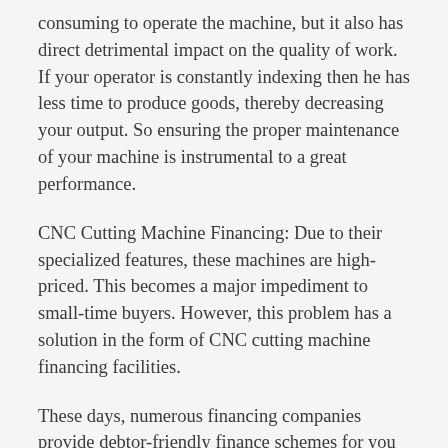consuming to operate the machine, but it also has direct detrimental impact on the quality of work. If your operator is constantly indexing then he has less time to produce goods, thereby decreasing your output. So ensuring the proper maintenance of your machine is instrumental to a great performance.
CNC Cutting Machine Financing: Due to their specialized features, these machines are high-priced. This becomes a major impediment to small-time buyers. However, this problem has a solution in the form of CNC cutting machine financing facilities.
These days, numerous financing companies provide debtor-friendly finance schemes for you to go ahead and buy the equipment you need for your business. These finance schemes ensure hassle-free procurement of such equipment, thereby ensuring the use of good quality products and higher sales volume. Since these